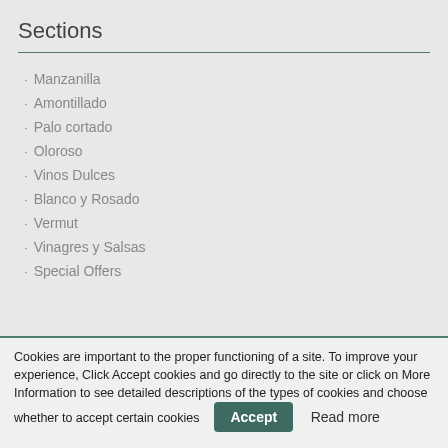Sections
Manzanilla
Amontillado
Palo cortado
Oloroso
Vinos Dulces
Blanco y Rosado
Vermut
Vinagres y Salsas
Special Offers
Cookies are important to the proper functioning of a site. To improve your experience, Click Accept cookies and go directly to the site or click on More Information to see detailed descriptions of the types of cookies and choose whether to accept certain cookies